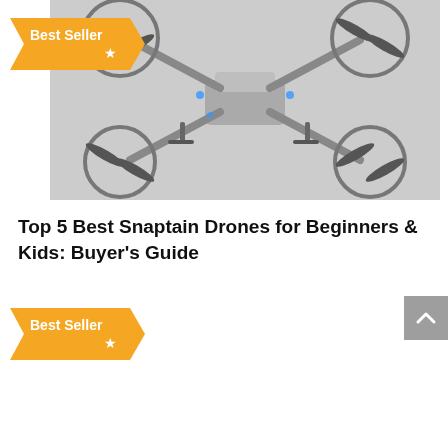[Figure (photo): Drone with four arms and propeller guards on a gray background, with a Best Seller orange banner badge in top-left corner]
Top 5 Best Snaptain Drones for Beginners & Kids: Buyer's Guide
[Figure (other): Second Best Seller orange banner badge, bottom-left area of page]